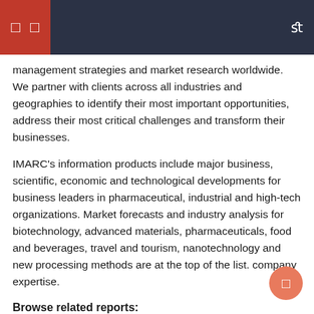management strategies and market research worldwide. We partner with clients across all industries and geographies to identify their most important opportunities, address their most critical challenges and transform their businesses.
IMARC's information products include major business, scientific, economic and technological developments for business leaders in pharmaceutical, industrial and high-tech organizations. Market forecasts and industry analysis for biotechnology, advanced materials, pharmaceuticals, food and beverages, travel and tourism, nanotechnology and new processing methods are at the top of the list. company expertise.
Browse related reports:
Global Coating Additives Market Size, Trend Reports,